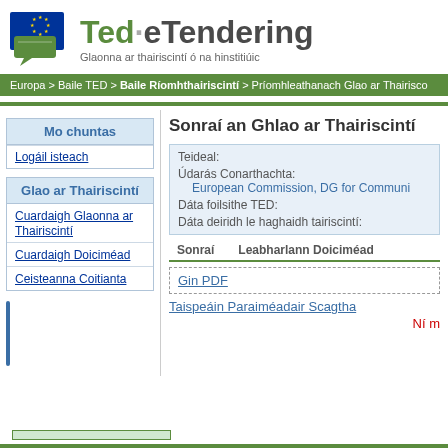[Figure (logo): Ted eTendering EU logo with text 'Ted·eTendering' and subtitle 'Glaonna ar thairiscintí ó na hinstitiúic']
Europa > Baile TED > Baile Ríomhthairiscintí > Príomhleathanach Glao ar Thairisco
Mo chuntas
Logáil isteach
Glao ar Thairiscintí
Cuardaigh Glaonna ar Thairiscintí
Cuardaigh Doiciméad
Ceisteanna Coitianta
Sonraí an Ghlao ar Thairiscintí
Teideal:
Údarás Conarthachta: European Commission, DG for Communi
Dáta foilsithe TED:
Dáta deiridh le haghaidh tairiscintí:
Sonraí    Leabharlann Doiciméad
Gin PDF
Taispeáin Paraiméadair Scagtha
Ní m